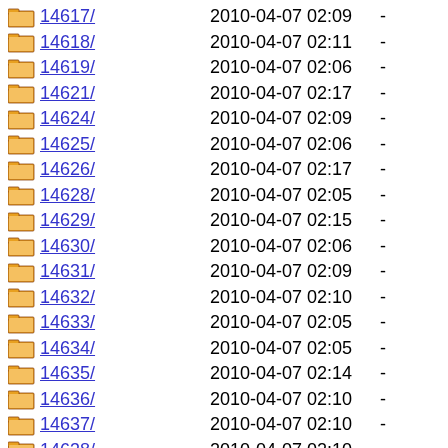14617/  2010-04-07 02:09  -
14618/  2010-04-07 02:11  -
14619/  2010-04-07 02:06  -
14621/  2010-04-07 02:17  -
14624/  2010-04-07 02:09  -
14625/  2010-04-07 02:06  -
14626/  2010-04-07 02:17  -
14628/  2010-04-07 02:05  -
14629/  2010-04-07 02:15  -
14630/  2010-04-07 02:06  -
14631/  2010-04-07 02:09  -
14632/  2010-04-07 02:10  -
14633/  2010-04-07 02:05  -
14634/  2010-04-07 02:05  -
14635/  2010-04-07 02:14  -
14636/  2010-04-07 02:10  -
14637/  2010-04-07 02:10  -
14638/  2010-04-07 02:10  -